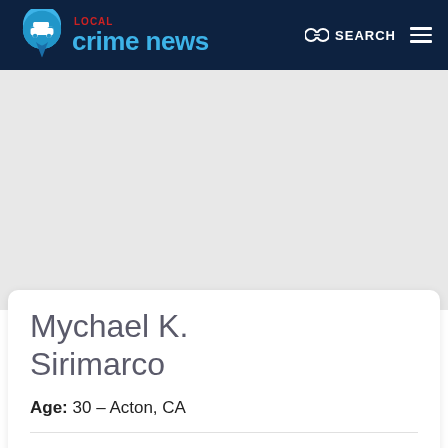LOCAL crime news — SEARCH
[Figure (screenshot): Gray map background area]
Mychael K. Sirimarco
Age: 30 – Acton, CA
County: Orange
Reported On: Aug 12, 2022